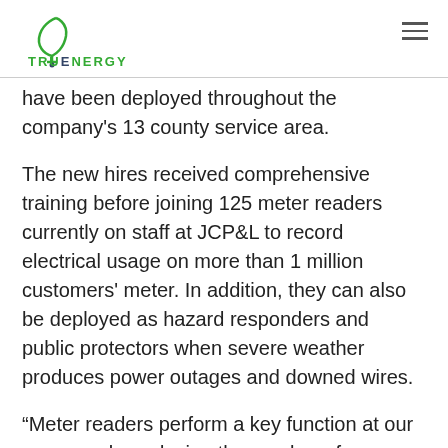TruEnergy logo and navigation
have been deployed throughout the company's 13 county service area.
The new hires received comprehensive training before joining 125 meter readers currently on staff at JCP&L to record electrical usage on more than 1 million customers' meter. In addition, they can also be deployed as hazard responders and public protectors when severe weather produces power outages and downed wires.
“Meter readers perform a key function at our company by reducing the number of estimated customer bills through efficient and accurate recordings of electricity usage,” said James